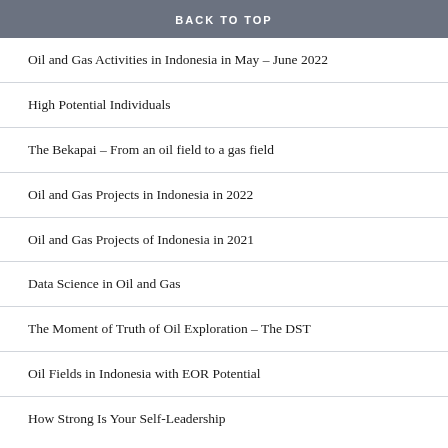BACK TO TOP
Oil and Gas Activities in Indonesia in May – June 2022
High Potential Individuals
The Bekapai – From an oil field to a gas field
Oil and Gas Projects in Indonesia in 2022
Oil and Gas Projects of Indonesia in 2021
Data Science in Oil and Gas
The Moment of Truth of Oil Exploration – The DST
Oil Fields in Indonesia with EOR Potential
How Strong Is Your Self-Leadership